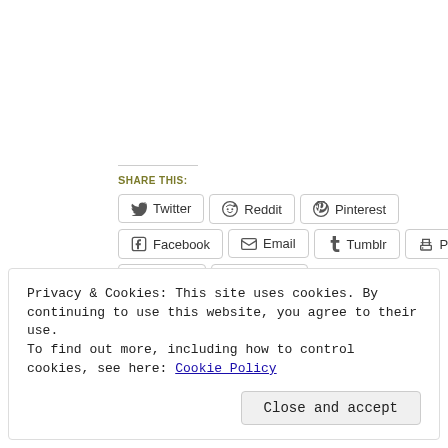Share this:
Twitter
Reddit
Pinterest
Facebook
Email
Tumblr
Print
Pocket
LinkedIn
Privacy & Cookies: This site uses cookies. By continuing to use this website, you agree to their use.
To find out more, including how to control cookies, see here: Cookie Policy
Close and accept